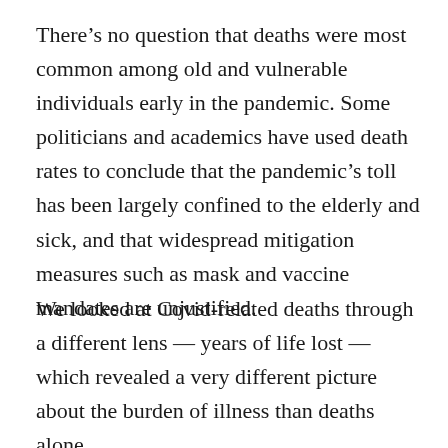There's no question that deaths were most common among old and vulnerable individuals early in the pandemic. Some politicians and academics have used death rates to conclude that the pandemic's toll has been largely confined to the elderly and sick, and that widespread mitigation measures such as mask and vaccine mandates are unjustified.
We looked at Covid-related deaths through a different lens — years of life lost — which revealed a very different picture about the burden of illness than deaths alone.